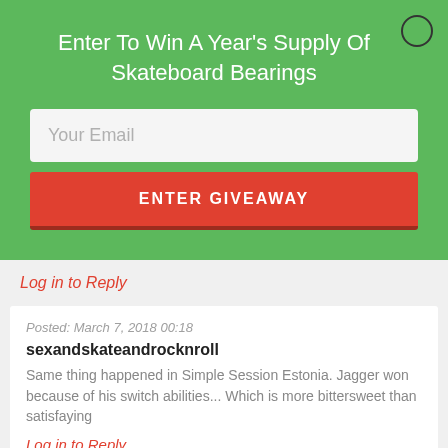Enter To Win A Year's Supply Of Skateboard Bearings
Your Email
ENTER GIVEAWAY
Log in to Reply
Posted: March 7, 2018 00:18
sexandskateandrocknroll
Same thing happened in Simple Session Estonia. Jagger won because of his switch abilities... Which is more bittersweet than satisfaying
Log in to Reply
You must be logged in to post a comment.